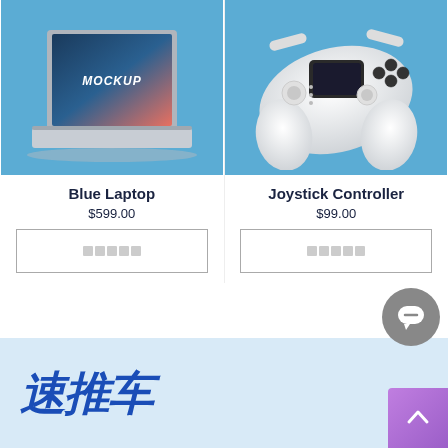[Figure (photo): Blue laptop mockup on blue background]
[Figure (photo): White joystick controller on blue background]
Blue Laptop
$599.00
□□□□□
Joystick Controller
$99.00
□□□□□
[Figure (illustration): Chat bubble icon button (gray circle)]
[Figure (illustration): Scroll up button (purple/pink gradient square with up arrow)]
速推车